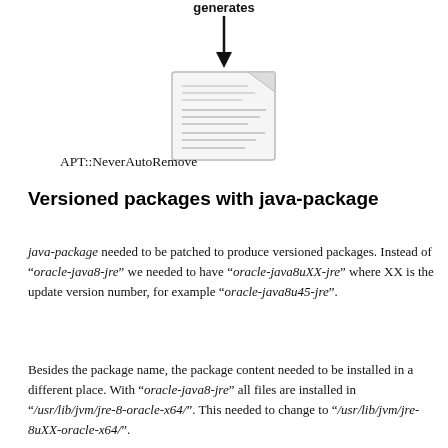[Figure (flowchart): Arrow pointing down labeled 'generates' above a document icon representing APT::NeverAutoRemove config file]
APT::NeverAutoRemove
Versioned packages with java-package
java-package needed to be patched to produce versioned packages. Instead of “oracle-java8-jre” we needed to have “oracle-java8uXX-jre” where XX is the update version number, for example “oracle-java8u45-jre”.
Besides the package name, the package content needed to be installed in a different place. With “oracle-java8-jre” all files are installed in “/usr/lib/jvm/jre-8-oracle-x64/”. This needed to change to “/usr/lib/jvm/jre-8uXX-oracle-x64/”.